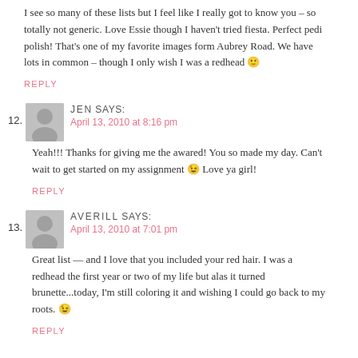I see so many of these lists but I feel like I really got to know you – so totally not generic. Love Essie though I haven't tried fiesta. Perfect pedi polish! That's one of my favorite images form Aubrey Road. We have lots in common – though I only wish I was a redhead 🙂
REPLY
12. JEN SAYS:
April 13, 2010 at 8:16 pm
Yeah!!! Thanks for giving me the awared! You so made my day. Can't wait to get started on my assignment 😉 Love ya girl!
REPLY
13. AVERILL SAYS:
April 13, 2010 at 7:01 pm
Great list — and I love that you included your red hair. I was a redhead the first year or two of my life but alas it turned brunette...today, I'm still coloring it and wishing I could go back to my roots. 😉
REPLY